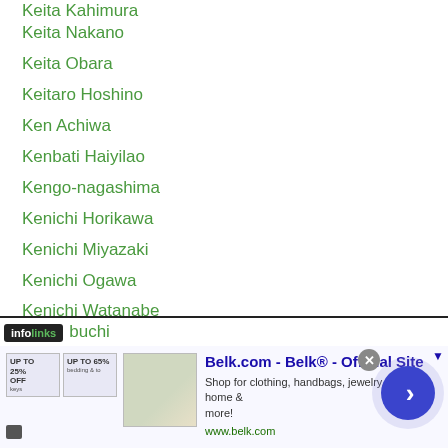Keita Kahimura
Keita Nakano
Keita Obara
Keitaro Hoshino
Ken Achiwa
Kenbati Haiyilao
Kengo-nagashima
Kenichi Horikawa
Kenichi Miyazaki
Kenichi Ogawa
Kenichi Watanabe
Kenji Fujita
Kenji Kihisa
Kenji Ono
Kenji Yoshino
Ken Jordan
...buchi
[Figure (screenshot): Infolinks ad banner with Belk.com advertisement showing clothing/bedding products]